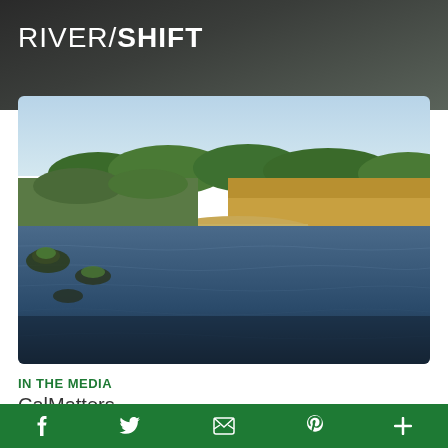RIVER/SHIFT
[Figure (photo): A river with low water levels showing sandbars and exposed banks, with green vegetation along the shoreline and a clear sky background]
IN THE MEDIA
CalMatters
07.20.22
f  y  [email icon]  p  +